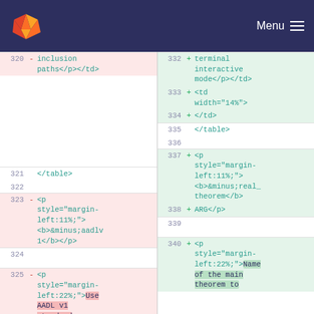GitLab — Menu
[Figure (screenshot): Git diff view showing HTML code changes. Left side shows removed lines (320-325) with red background, right side shows added lines (332-340) with green background. Lines show HTML table and paragraph markup changes.]